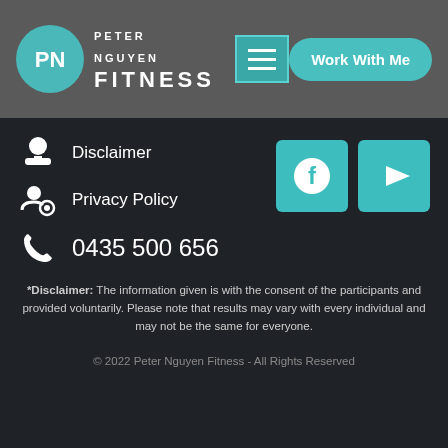Peter Nguyen Fitness
Disclaimer
Privacy Policy
0435 500 656
*Disclaimer: The information given is with the consent of the participants and provided voluntarily. Please note that results may vary with every individual and may not be the same for everyone.
© 2022 Peter Nguyen Fitness - All Rights Reserved